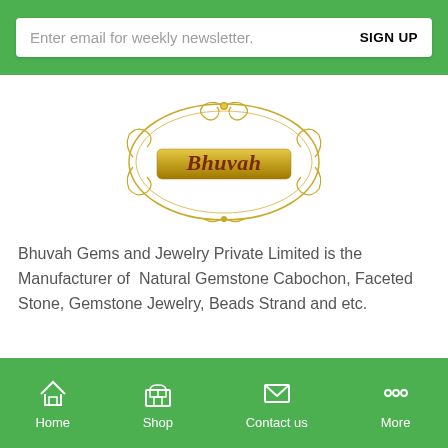Enter email for weekly newsletter.
SIGN UP
[Figure (logo): Bhuvah Gems and Jewelry logo with gold ornamental oval frame and gold banner with dark red italic text 'Bhuvah']
Bhuvah Gems and Jewelry Private Limited is the Manufacturer of  Natural Gemstone Cabochon, Faceted Stone, Gemstone Jewelry, Beads Strand and etc.
Home
Shop
Contact us
More